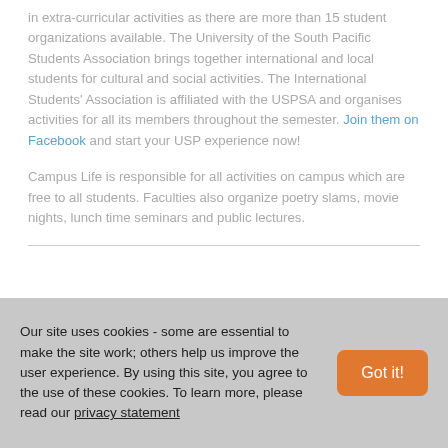in extra-curricular activities as there are more than 15 student organizations available. The University of the South Pacific Students Association brings together international and local students for cultural and social activities. The International Students' Association is affiliated with the USPSA and organises activities for all its members throughout the semester. Join them on Facebook and start your USP experience now!
Campus Life is responsible for all activities on campus which are free to all students. Faculties also organize poetry slams, movie nights, lunch time seminars and public lectures.
Our site uses cookies - some are essential to make the site work; others help us improve the user experience. By using this site, you agree to the use of these cookies. To learn more, please read our privacy statement